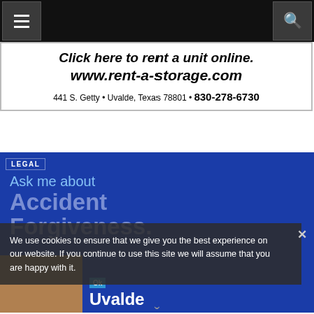Navigation bar with hamburger menu and search icon
[Figure (screenshot): Advertisement banner: Click here to rent a unit online. www.rent-a-storage.com. 441 S. Getty • Uvalde, Texas 78801 • 830-278-6730]
[Figure (screenshot): Legal advertisement with blue background. LEGAL tag, Ask me about Accident Forgiveness, Uvalde attorney photo and name partially visible]
We use cookies to ensure that we give you the best experience on our website. If you continue to use this site we will assume that you are happy with it.